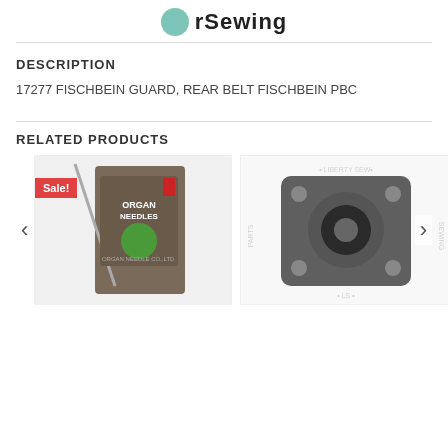rSewing
DESCRIPTION
17277 FISCHBEIN GUARD, REAR BELT FISCHBEIN PBC
RELATED PRODUCTS
[Figure (photo): Product image of Organ Needles with a Sale! badge on the left side]
[Figure (photo): Product image of a black rubber bearing housing/flange mount part with Liberty Sewing Parts watermark]